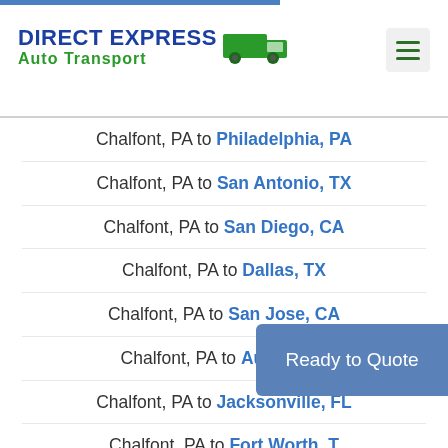DIRECT EXPRESS Auto Transport
Chalfont, PA to Philadelphia, PA
Chalfont, PA to San Antonio, TX
Chalfont, PA to San Diego, CA
Chalfont, PA to Dallas, TX
Chalfont, PA to San Jose, CA
Chalfont, PA to Austin, TX
Chalfont, PA to Jacksonville, FL
Chalfont, PA to Fort Worth, TX
Chalfont, PA to Columbus, OH
[Figure (other): Ready to Quote button overlay]